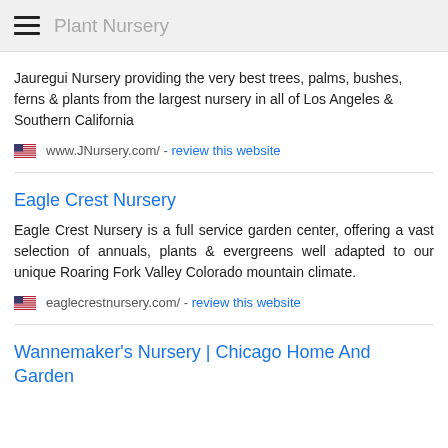Plant Nursery
Jauregui Nursery providing the very best trees, palms, bushes, ferns & plants from the largest nursery in all of Los Angeles & Southern California
www.JNursery.com/ - review this website
Eagle Crest Nursery
Eagle Crest Nursery is a full service garden center, offering a vast selection of annuals, plants & evergreens well adapted to our unique Roaring Fork Valley Colorado mountain climate.
eaglecrestnursery.com/ - review this website
Wannemaker's Nursery | Chicago Home And Garden